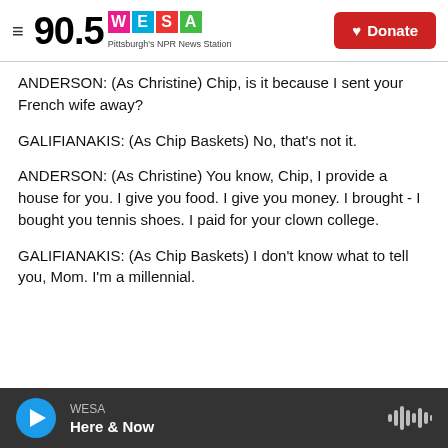90.5 WESA Pittsburgh's NPR News Station | Donate
ANDERSON: (As Christine) Chip, is it because I sent your French wife away?
GALIFIANAKIS: (As Chip Baskets) No, that's not it.
ANDERSON: (As Christine) You know, Chip, I provide a house for you. I give you food. I give you money. I brought - I bought you tennis shoes. I paid for your clown college.
GALIFIANAKIS: (As Chip Baskets) I don't know what to tell you, Mom. I'm a millennial.
WESA Here & Now